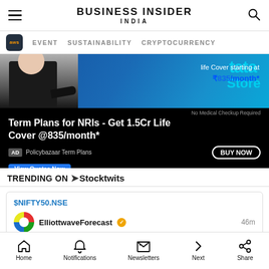BUSINESS INSIDER INDIA
[Figure (screenshot): Navigation bar with AWS logo, EVENT, SUSTAINABILITY, CRYPTOCURRENCY links]
[Figure (photo): Policybazaar ad: Term Plans for NRIs - Get 1.5Cr Life Cover @835/month* with BUY NOW button]
TRENDING ON Stocktwits
$NIFTY50.NSE
ElliottwaveForecast 46m